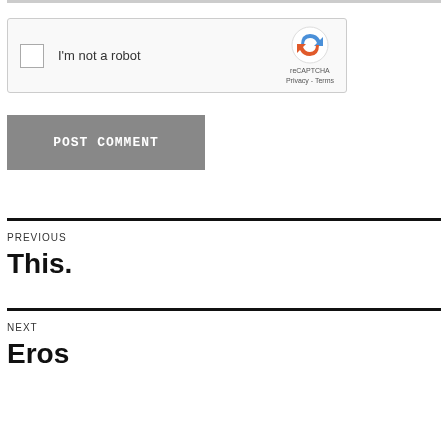[Figure (screenshot): reCAPTCHA widget with checkbox labeled 'I'm not a robot' and reCAPTCHA logo with Privacy - Terms links]
[Figure (screenshot): Gray 'POST COMMENT' button]
PREVIOUS
This.
NEXT
Eros